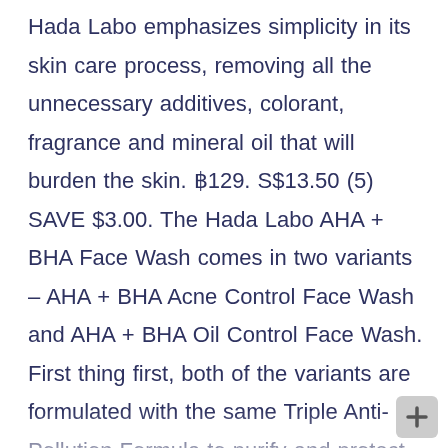Hada Labo emphasizes simplicity in its skin care process, removing all the unnecessary additives, colorant, fragrance and mineral oil that will burden the skin. ₿129. S$13.50 (5) SAVE $3.00. The Hada Labo AHA + BHA Face Wash comes in two variants – AHA + BHA Acne Control Face Wash and AHA + BHA Oil Control Face Wash. First thing first, both of the variants are formulated with the same Triple Anti-Pollution Formula to purify and protect the skin from environmental pollution. Availability: 20 in stock. Face wash nie … This review has taken a long time coming. BHA is?. Siapa sama kita boleh geng eh! Rating 4.5/5.0 Okay gi la beli Hada Labo kat watson. 310,00 грн. RM 35.90 RM 32.30-10%. Quality products at remarkable prices. Price: $33.30 + $18.50 ...